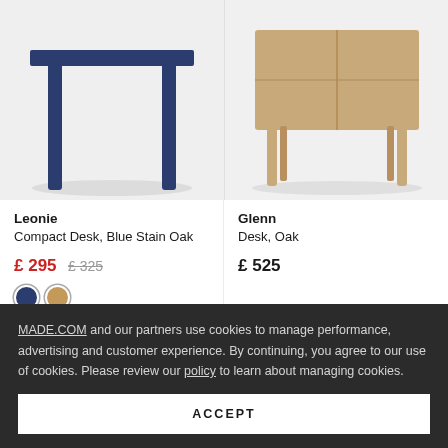[Figure (photo): Two product images side by side: left shows a compact desk with dark navy/blue legs on light background (Leonie Compact Desk, Blue Stain Oak), right shows a wooden desk with oak legs on light background (Glenn Desk, Oak)]
Leonie
Compact Desk, Blue Stain Oak
£ 295  £ 325
Glenn
Desk, Oak
£ 525
MADE.COM and our partners use cookies to manage performance, advertising and customer experience. By continuing, you agree to our use of cookies. Please review our policy to learn about managing cookies.
ACCEPT